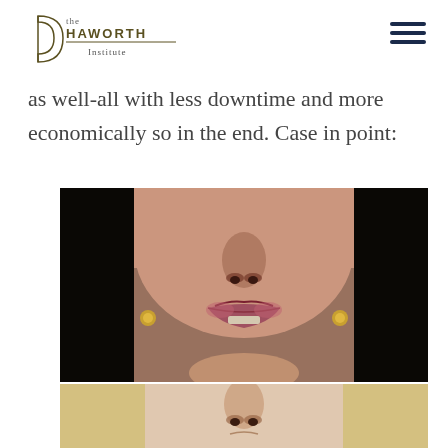the Haworth Institute
as well-all with less downtime and more economically so in the end. Case in point:
[Figure (photo): Before photo of a woman's lower face showing lips, nose, and chin area, with gold earrings visible, dark background]
[Figure (photo): After photo of a woman's lower face showing nose area, with blonde hair visible, lighter background]